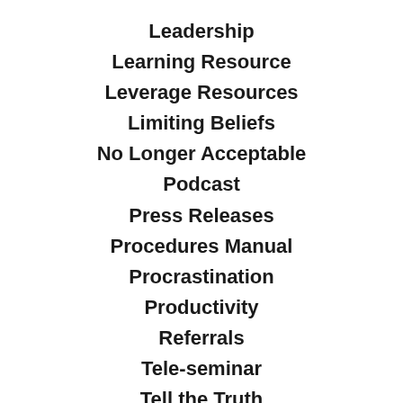Leadership
Learning Resource
Leverage Resources
Limiting Beliefs
No Longer Acceptable
Podcast
Press Releases
Procedures Manual
Procrastination
Productivity
Referrals
Tele-seminar
Tell the Truth